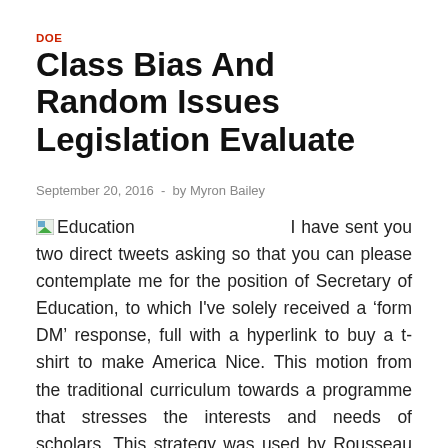DOE
Class Bias And Random Issues Legislation Evaluate
September 20, 2016 - by Myron Bailey
[Figure (illustration): Small thumbnail image placeholder for Education topic]
I have sent you two direct tweets asking so that you can please contemplate me for the position of Secretary of Education, to which I've solely received a 'form DM' response, full with a hyperlink to buy a t-shirt to make America Nice. This motion from the traditional curriculum towards a programme that stresses the interests and needs of scholars, This strategy was used by Rousseau within the education of Emile, then